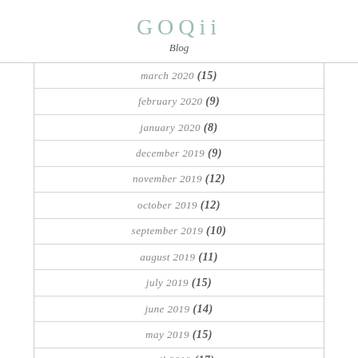GOQii Blog
march 2020 (15)
february 2020 (9)
january 2020 (8)
december 2019 (9)
november 2019 (12)
october 2019 (12)
september 2019 (10)
august 2019 (11)
july 2019 (15)
june 2019 (14)
may 2019 (15)
april 2019 (17)